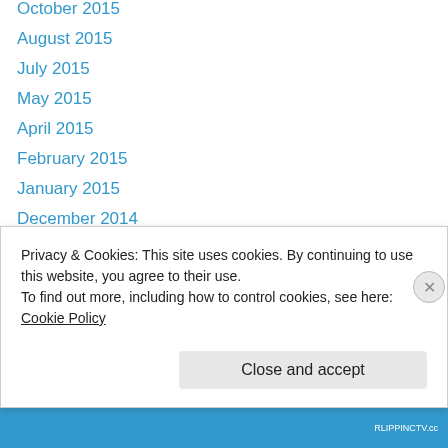October 2015
August 2015
July 2015
May 2015
April 2015
February 2015
January 2015
December 2014
September 2013
July 2013
June 2013
May 2013
April 2013
February 2013
Privacy & Cookies: This site uses cookies. By continuing to use this website, you agree to their use.
To find out more, including how to control cookies, see here: Cookie Policy
Close and accept